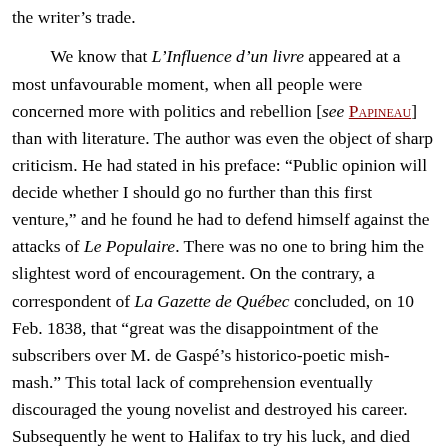the writer's trade.
We know that L'Influence d'un livre appeared at a most unfavourable moment, when all people were concerned more with politics and rebellion [see PAPINEAU] than with literature. The author was even the object of sharp criticism. He had stated in his preface: “Public opinion will decide whether I should go no further than this first venture,” and he found he had to defend himself against the attacks of Le Populaire. There was no one to bring him the slightest word of encouragement. On the contrary, a correspondent of La Gazette de Québec concluded, on 10 Feb. 1838, that “great was the disappointment of the subscribers over M. de Gaspé’s historico-poetic mish-mash.” This total lack of comprehension eventually discouraged the young novelist and destroyed his career. Subsequently he went to Halifax to try his luck, and died there suddenly on 7 March 1841, while his father was in prison at Quebec.
It is not impossible that even at this time Gaspé Sr thought of